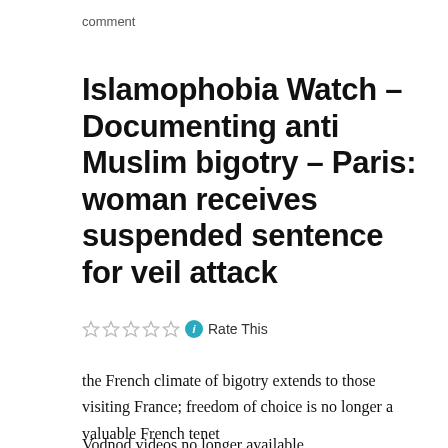comment
Islamophobia Watch – Documenting anti Muslim bigotry – Paris: woman receives suspended sentence for veil attack
Rate This
the French climate of bigotry extends to those visiting France; freedom of choice is no longer a valuable French tenet
Vodnod videos no longer available